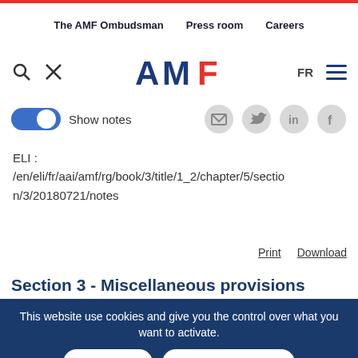The AMF Ombudsman | Press room | Careers
[Figure (logo): AMF logo with search, tools icons and FR language and hamburger menu]
Show notes
ELI : /en/eli/fr/aai/amf/rg/book/3/title/1_2/chapter/5/section/3/20180721/notes
Print   Download
Section 3 - Miscellaneous provisions
(A... 31)
This website use cookies and give you the control over what you want to activate.
Accept All   Refuse all cookies
Personalise
information boxes have been inserted within the